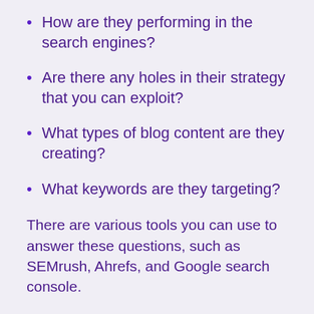How are they performing in the search engines?
Are there any holes in their strategy that you can exploit?
What types of blog content are they creating?
What keywords are they targeting?
There are various tools you can use to answer these questions, such as SEMrush, Ahrefs, and Google search console.
Once you know where your competitors stand — such as what keywords they're ranking for — use that as inspiration to create “better” content with the goal of outranking